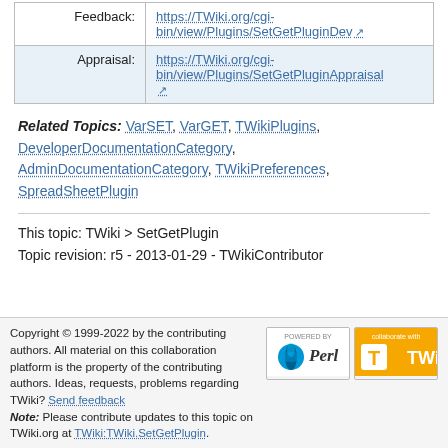| Feedback: | https://TWiki.org/cgi-bin/view/Plugins/SetGetPluginDev |
| Appraisal: | https://TWiki.org/cgi-bin/view/Plugins/SetGetPluginAppraisal |
Related Topics: VarSET, VarGET, TWikiPlugins, DeveloperDocumentationCategory, AdminDocumentationCategory, TWikiPreferences, SpreadSheetPlugin
This topic: TWiki > SetGetPlugin
Topic revision: r5 - 2013-01-29 - TWikiContributor
Copyright © 1999-2022 by the contributing authors. All material on this collaboration platform is the property of the contributing authors. Ideas, requests, problems regarding TWiki? Send feedback Note: Please contribute updates to this topic on TWiki.org at TWiki:TWiki.SetGetPlugin.